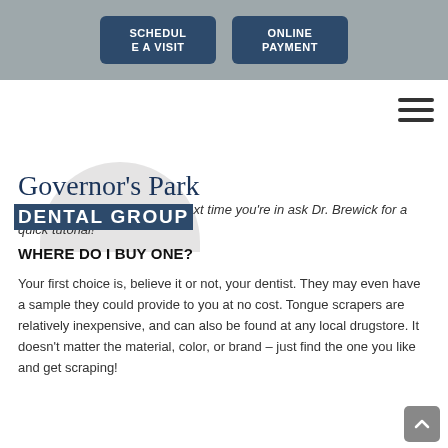[Figure (screenshot): Navigation header bar with two dark blue buttons: 'SCHEDULE A VISIT' and 'ONLINE PAYMENT' on a grey background]
[Figure (logo): Governor's Park Dental Group logo with script text and block text over a grey arc/circle background element]
this thing really works? The next time you're in ask Dr. Brewick for a quick tutorial!
WHERE DO I BUY ONE?
Your first choice is, believe it or not, your dentist. They may even have a sample they could provide to you at no cost. Tongue scrapers are relatively inexpensive, and can also be found at any local drugstore. It doesn't matter the material, color, or brand – just find the one you like and get scraping!